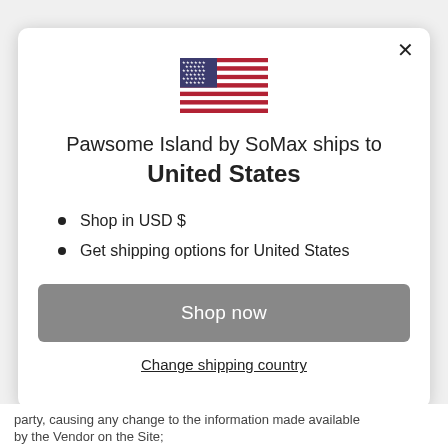[Figure (illustration): US flag SVG illustration centered at top of modal dialog]
Pawsome Island by SoMax ships to United States
Shop in USD $
Get shipping options for United States
Shop now
Change shipping country
party, causing any change to the information made available by the Vendor on the Site;